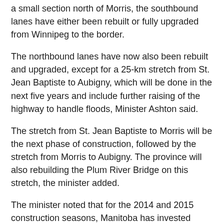a small section north of Morris, the southbound lanes have either been rebuilt or fully upgraded from Winnipeg to the border.
The northbound lanes have now also been rebuilt and upgraded, except for a 25-km stretch from St. Jean Baptiste to Aubigny, which will be done in the next five years and include further raising of the highway to handle floods, Minister Ashton said.
The stretch from St. Jean Baptiste to Morris will be the next phase of construction, followed by the stretch from Morris to Aubigny. The province will also rebuilding the Plum River Bridge on this stretch, the minister added.
The minister noted that for the 2014 and 2015 construction seasons, Manitoba has invested more than $1 billion for work on highways.